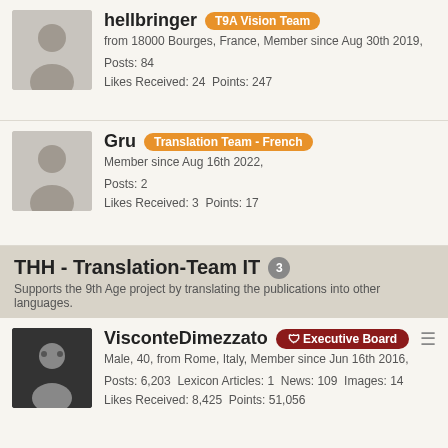hellbringer T9A Vision Team
from 18000 Bourges, France, Member since Aug 30th 2019,
Posts: 84
Likes Received: 24  Points: 247
Gru Translation Team - French
Member since Aug 16th 2022,
Posts: 2
Likes Received: 3  Points: 17
THH - Translation-Team IT 3
Supports the 9th Age project by translating the publications into other languages.
VisconteDimezzato Executive Board
Male, 40, from Rome, Italy, Member since Jun 16th 2016,
Posts: 6,203  Lexicon Articles: 1  News: 109  Images: 14
Likes Received: 8,425  Points: 51,056
rambage Head of Italian Translation
Member since May 16th 2018,
Posts: 256
Likes Received: 322  Points: 1,876
Wartere Translation Team - Italian
from 42048 Rubiera, Province of Reggio Emilia, Italy,
Member since Oct 22nd 2016,